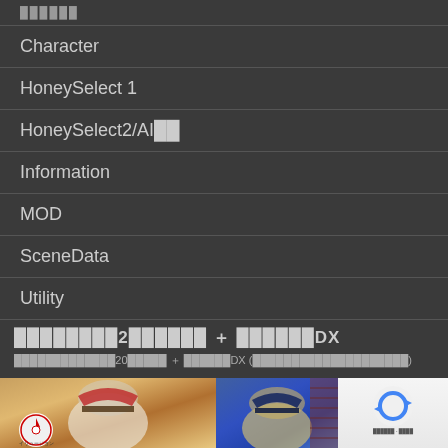██████
Character
HoneySelect 1
HoneySelect2/AI██
Information
MOD
SceneData
Utility
████████2██████ ＋ ██████DX
█████████████20█████ ＋ ██████DX (████████████████████)
[Figure (photo): Two anime-style character images side by side: left shows a character with a red and gold hat with white hair, right shows a character with a dark blue hat with blonde hair. An Illusion company logo (red/white propeller design with イリュージョン text) is visible in the bottom-left. A reCAPTCHA widget appears in the bottom-right corner.]